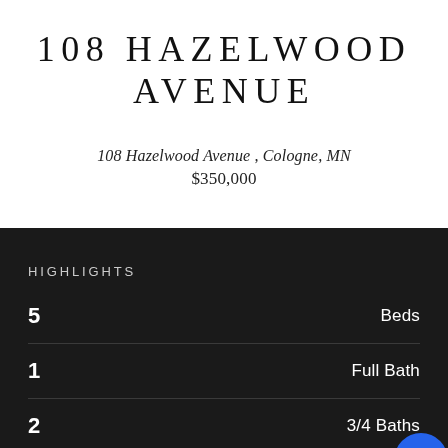108 HAZELWOOD AVENUE
108 Hazelwood Avenue , Cologne, MN
$350,000
HIGHLIGHTS
5  Beds
1  Full Bath
2  3/4 Baths